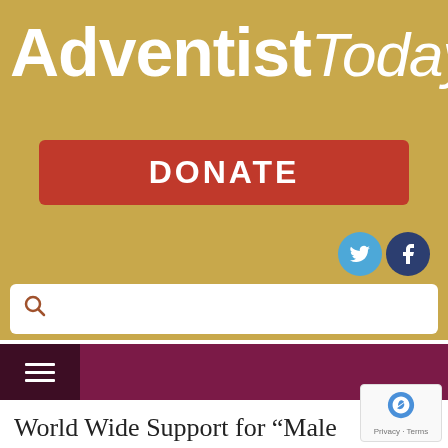[Figure (logo): AdventistToday.org website logo in white text on gold/tan background]
[Figure (screenshot): Red DONATE button]
[Figure (screenshot): Twitter and Facebook social media icons]
[Figure (screenshot): Search bar with magnifying glass icon]
[Figure (screenshot): Navigation bar with hamburger menu icon on dark maroon background]
World Wide Support for “Male Headship Doctrine” Swells